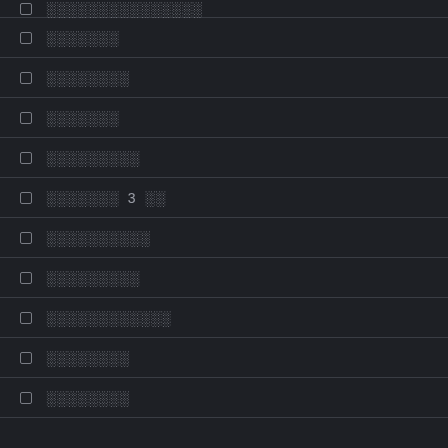░░░░░░░░░░░░░░░
░░░░░░░
░░░░░░░░
░░░░░░░
░░░░░░░░░
░░░░░░░  3  ░░
░░░░░░░░░░
░░░░░░░░░
░░░░░░░░░░░░
░░░░░░░░
░░░░░░░░